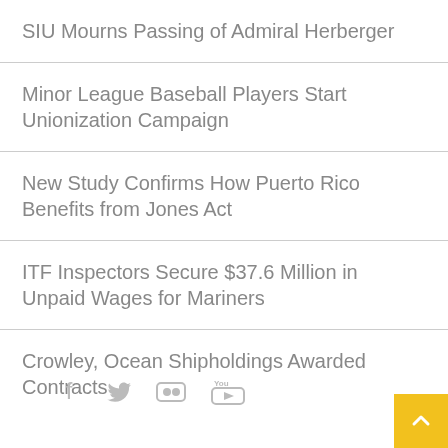SIU Mourns Passing of Admiral Herberger
Minor League Baseball Players Start Unionization Campaign
New Study Confirms How Puerto Rico Benefits from Jones Act
ITF Inspectors Secure $37.6 Million in Unpaid Wages for Mariners
Crowley, Ocean Shipholdings Awarded Contracts
[Figure (infographic): Social media icons: Facebook, Twitter, Flickr, YouTube]